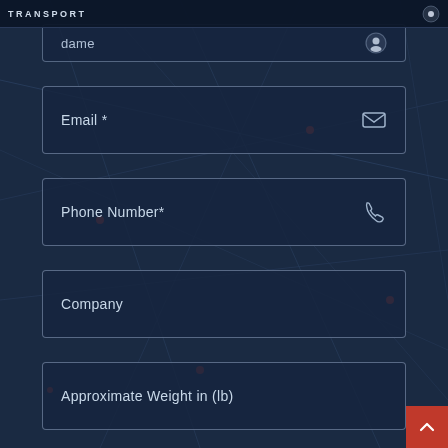TRANSPORT
Email *
Phone Number*
Company
Approximate Weight in (lb)
Ship from what City & State